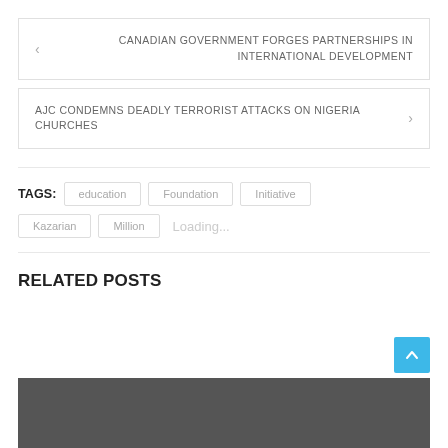< CANADIAN GOVERNMENT FORGES PARTNERSHIPS IN INTERNATIONAL DEVELOPMENT
AJC CONDEMNS DEADLY TERRORIST ATTACKS ON NIGERIA CHURCHES >
TAGS: education Foundation Initiative Kazarian Million Loading...
RELATED POSTS